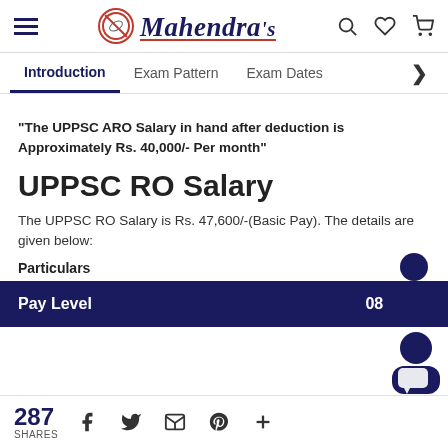Mahendra's
Introduction | Exam Pattern | Exam Dates
"The UPPSC ARO Salary in hand after deduction is Approximately Rs. 40,000/- Per month"
UPPSC RO Salary
The UPPSC RO Salary is Rs. 47,600/-(Basic Pay). The details are given below:
Particulars
| Pay Level | 08 |
| --- | --- |
287 SHARES